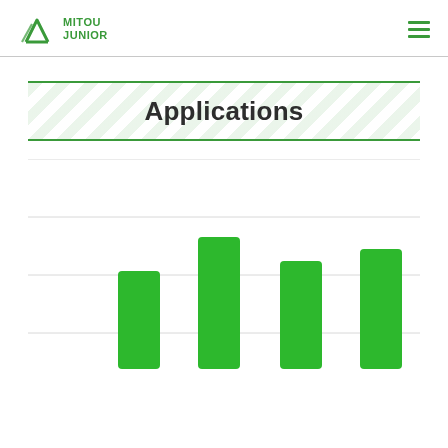MITOU JUNIOR
Applications
[Figure (bar-chart): Applications]